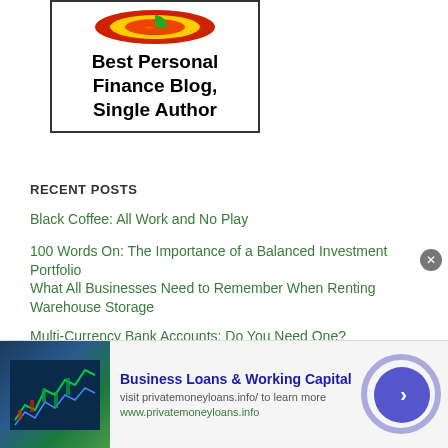[Figure (illustration): Award badge graphic — pie/donut chart icon in red, yellow and green colors at top of a bordered box, with text 'Best Personal Finance Blog, Single Author']
RECENT POSTS
Black Coffee: All Work and No Play
100 Words On: The Importance of a Balanced Investment Portfolio
What All Businesses Need to Remember When Renting Warehouse Storage
Multi-Currency Bank Accounts: Do You Need One?
5 Surprising Things Your Auto Insurance Policy Doesn't Cover
Why Insurance Companies Don't Want You to Know About Concierge...
[Figure (infographic): Advertisement banner: Business Loans & Working Capital — visit privatemoneyloans.info/ to learn more — www.privatemoneyloans.info — with stock chart image on left and circular arrow button on right]